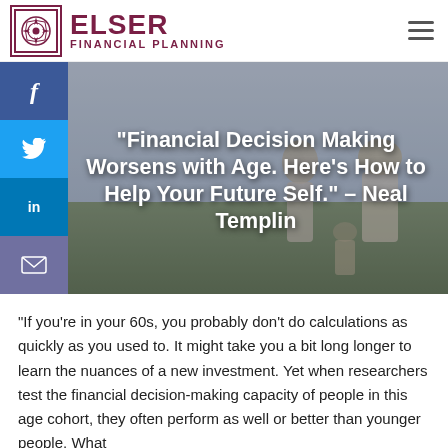ELSER FINANCIAL PLANNING
[Figure (photo): Hero image of a family (two adults and a child) standing in a field, viewed from behind, with social media sharing buttons (Facebook, Twitter, LinkedIn, Email) on the left sidebar. The hero image contains the article title text overlaid.]
“Financial Decision Making Worsens with Age. Here’s How to Help Your Future Self.” – Neal Templin
“If you’re in your 60s, you probably don’t do calculations as quickly as you used to. It might take you a bit long longer to learn the nuances of a new investment. Yet when researchers test the financial decision-making capacity of people in this age cohort, they often perform as well or better than younger people. What